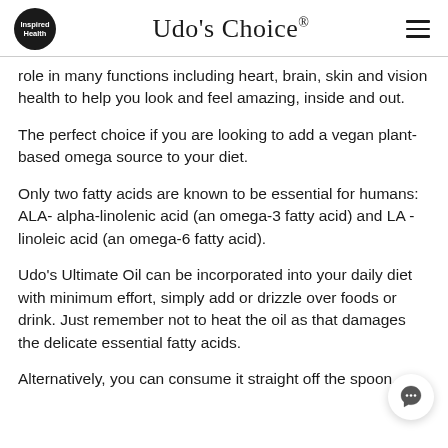Inspired Health | Udo's Choice®
role in many functions including heart, brain, skin and vision health to help you look and feel amazing, inside and out.
The perfect choice if you are looking to add a vegan plant-based omega source to your diet.
Only two fatty acids are known to be essential for humans: ALA- alpha-linolenic acid (an omega-3 fatty acid) and LA - linoleic acid (an omega-6 fatty acid).
Udo's Ultimate Oil can be incorporated into your daily diet with minimum effort, simply add or drizzle over foods or drink. Just remember not to heat the oil as that damages the delicate essential fatty acids.
Alternatively, you can consume it straight off the spoon...